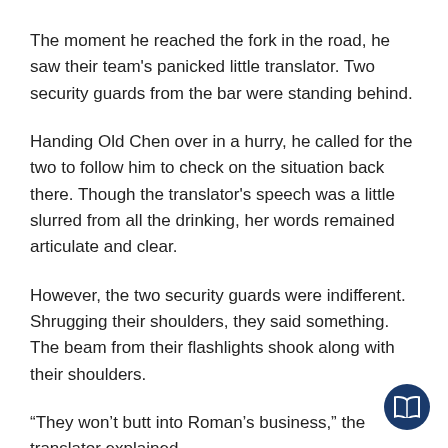The moment he reached the fork in the road, he saw their team's panicked little translator. Two security guards from the bar were standing behind.
Handing Old Chen over in a hurry, he called for the two to follow him to check on the situation back there. Though the translator's speech was a little slurred from all the drinking, her words remained articulate and clear.
However, the two security guards were indifferent. Shrugging their shoulders, they said something. The beam from their flashlights shook along with their shoulders.
“They won’t butt into Roman’s business,” the translator explained.
Ye Ji’an was at the brink of his rationality. That wild, crazy boy was the local tyrant?
[Figure (illustration): Dark blue circular icon with a white open book symbol, positioned at bottom-right corner of the page.]